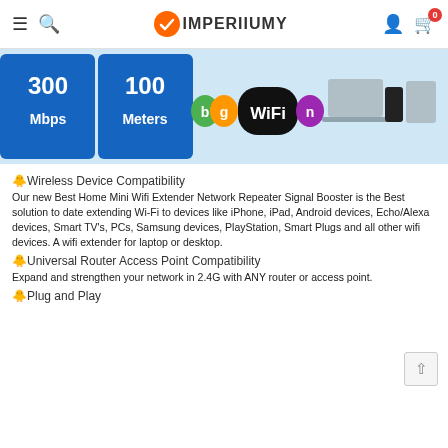IMPERIIUMY
[Figure (infographic): Product banner showing 300 Mbps, 100 Meters, WiFi bgn standards logos, and devices (laptop, phone, tablet)]
🔷Wireless Device Compatibility
Our new Best Home Mini Wifi Extender Network Repeater Signal Booster is the Best solution to date extending Wi-Fi to devices like iPhone, iPad, Android devices, Echo/Alexa devices, Smart TV's, PCs, Samsung devices, PlayStation, Smart Plugs and all other wifi devices. A wifi extender for laptop or desktop.
🔷Universal Router Access Point Compatibility
Expand and strengthen your network in 2.4G with ANY router or access point.
🔷Plug and Play